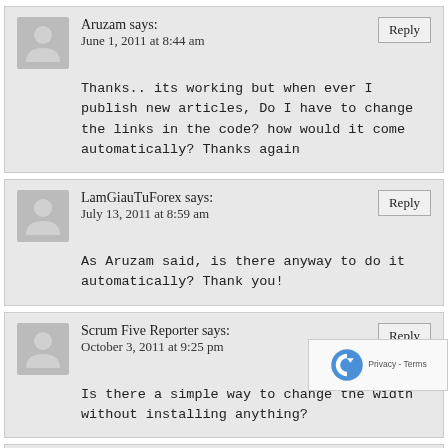Aruzam says: June 1, 2011 at 8:44 am
Thanks.. its working but when ever I publish new articles, Do I have to change the links in the code? how would it come automatically? Thanks again
LamGiauTuForex says: July 13, 2011 at 8:59 am
As Aruzam said, is there anyway to do it automatically? Thank you!
Scrum Five Reporter says: October 3, 2011 at 9:25 pm
Is there a simple way to change the width without installing anything?
ETUSC says: October 12, 2011 at 7:32 pm